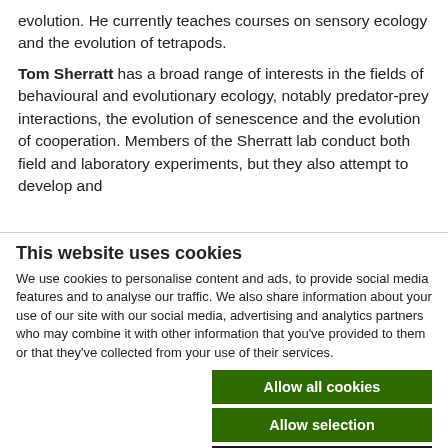evolution. He currently teaches courses on sensory ecology and the evolution of tetrapods.
Tom Sherratt has a broad range of interests in the fields of behavioural and evolutionary ecology, notably predator-prey interactions, the evolution of senescence and the evolution of cooperation. Members of the Sherratt lab conduct both field and laboratory experiments, but they also attempt to develop and
This website uses cookies
We use cookies to personalise content and ads, to provide social media features and to analyse our traffic. We also share information about your use of our site with our social media, advertising and analytics partners who may combine it with other information that you've provided to them or that they've collected from your use of their services.
Allow all cookies
Allow selection
Use necessary cookies only
Necessary   Preferences   Statistics   Marketing   Show details